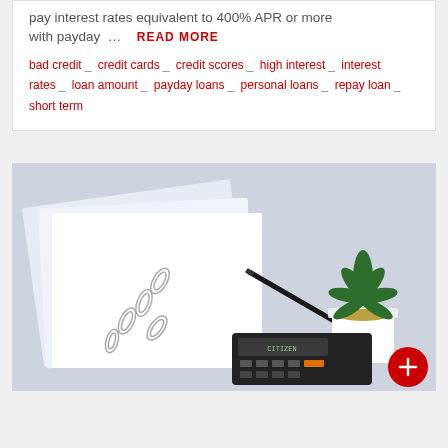pay interest rates equivalent to 400% APR or more with payday … READ MORE
bad credit _ credit cards _ credit scores _ high interest _ interest rates _ loan amount _ payday loans _ personal loans _ repay loan _ short term
[Figure (photo): Desk scene with white papers, paper clips, a pen, a small succulent plant in a white pot, and a Citizen calculator on a light blue/grey surface. A red circular FAB button with an arrow icon is in the bottom right corner.]